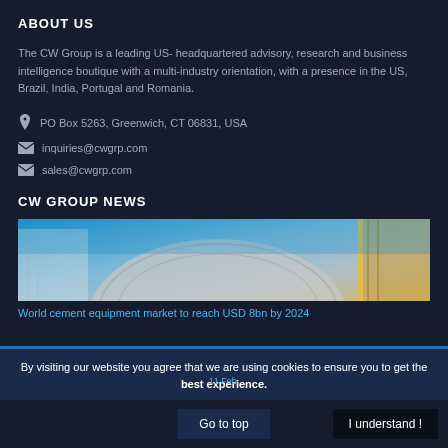ABOUT US
The CW Group is a leading US- headquartered advisory, research and business intelligence boutique with a multi-industry orientation, with a presence in the US, Brazil, India, Portugal and Romania.
PO Box 5263, Greenwich, CT 06831, USA
inquiries@cwgrp.com
sales@cwgrp.com
CW GROUP NEWS
[Figure (photo): Aerial/upward view of modern industrial or architectural structures, including what appears to be a dome-shaped building and industrial equipment against a blue sky.]
World cement equipment market to reach USD 8bn by 2024
By visiting our website you agree that we are using cookies to ensure you to get the best experience.
Go to top
I understand !